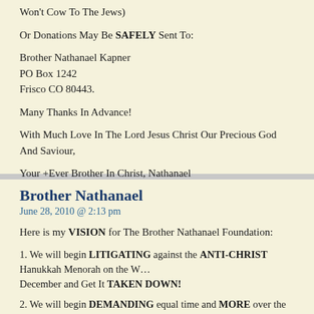Won't Cow To The Jews)
Or Donations May Be SAFELY Sent To:
Brother Nathanael Kapner
PO Box 1242
Frisco CO 80443.
Many Thanks In Advance!
With Much Love In The Lord Jesus Christ Our Precious God And Saviour,
Your +Ever Brother In Christ, Nathanael
Brother Nathanael
June 28, 2010 @ 2:13 pm
Here is my VISION for The Brother Nathanael Foundation:
1. We will begin LITIGATING against the ANTI-CHRIST Hanukkah Menorah on the W... December and Get It TAKEN DOWN!
2. We will begin DEMANDING equal time and MORE over the Christ Hating Jews who... public square with their Hanukkah Menorahs and Lesbian/Homosexual Memorials and C...
3. Brother Nathanael's Street Evangelism will be SUPPORTED by a Legal Team on staf... Foundation.